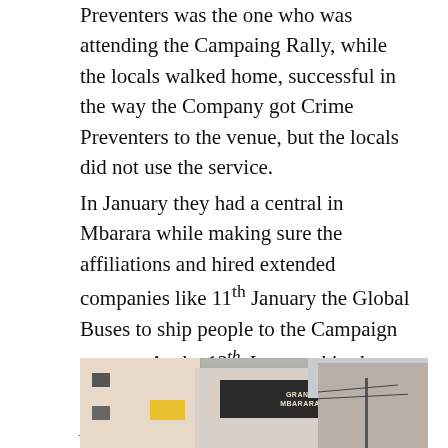Preventers was the one who was attending the Campaing Rally, while the locals walked home, successful in the way the Company got Crime Preventers to the venue, but the locals did not use the service.
In January they had a central in Mbarara while making sure the affiliations and hired extended companies like 11th January the Global Buses to ship people to the Campaign venues. As the 13th January hired another buses to make sure they got people from the districts around the area to get people to Bushenyi.
[Figure (photo): Photograph of a multi-storey building with a dark sign reading 'GRAND MBARARA' and surrounding structures, utility pole with wires visible on the right side.]